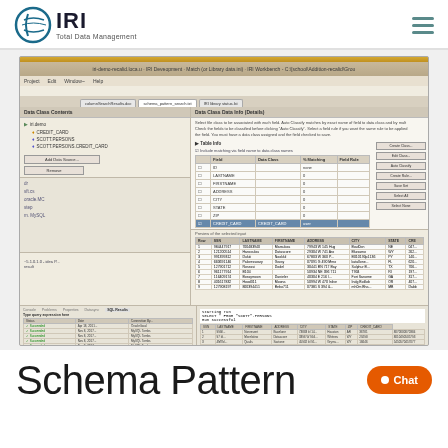[Figure (logo): IRI Total Data Management logo with circular globe icon]
[Figure (screenshot): IRI Workbench software screenshot showing schema pattern search with Data Class Contents panel, table with fields like ID, LASTNAME, FIRSTNAME, ADDRESS, CITY, STATE, ZIP, CREDIT_CARD, and SQL results panel at bottom]
Schema Pattern